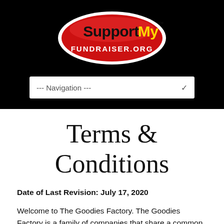[Figure (logo): SupportMy Fundraiser.org logo — red oval with white border, 'SupportMy' in bold black and yellow text, 'FUNDRAISER.ORG' in white text below]
--- Navigation ---
Terms & Conditions
Date of Last Revision: July 17, 2020
Welcome to The Goodies Factory. The Goodies Factory is a family of companies that share a common mission. The Goodies Factory, Inc.